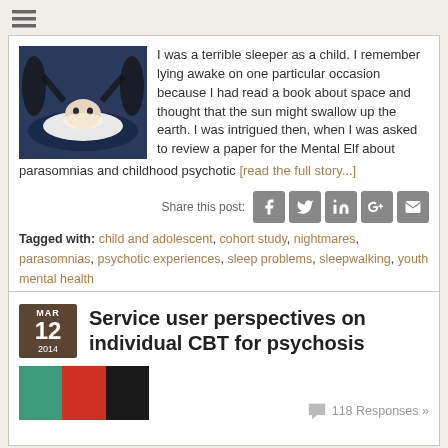[Figure (other): Hamburger menu icon with three horizontal lines]
I was a terrible sleeper as a child. I remember lying awake on one particular occasion because I had read a book about space and thought that the sun might swallow up the earth. I was intrigued then, when I was asked to review a paper for the Mental Elf about parasomnias and childhood psychotic [read the full story...]
Share this post:
Tagged with: child and adolescent, cohort study, nightmares, parasomnias, psychotic experiences, sleep problems, sleepwalking, youth mental health
MAR 12 2014 Service user perspectives on individual CBT for psychosis
118 Responses »